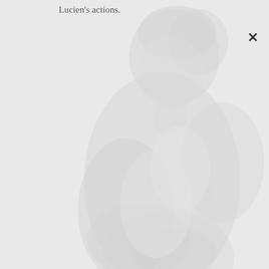[Figure (photo): Faded/ghosted background photograph of a person, very light gray tones, figure appears to be seated or crouching, image is heavily washed out against a light gray background]
Lucien's actions.
×